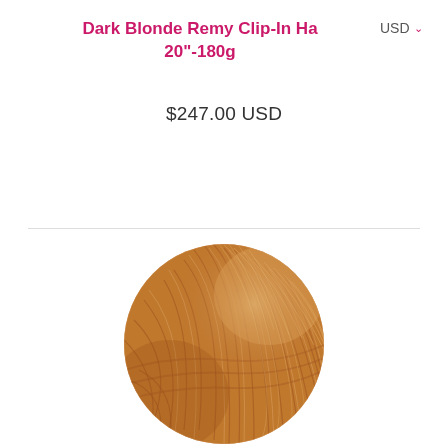Dark Blonde Remy Clip-In Ha 20"-180g
$247.00 USD
[Figure (photo): Circular close-up photo of dark blonde remy hair extensions showing the texture and color of the hair strands in warm golden-brown tones.]